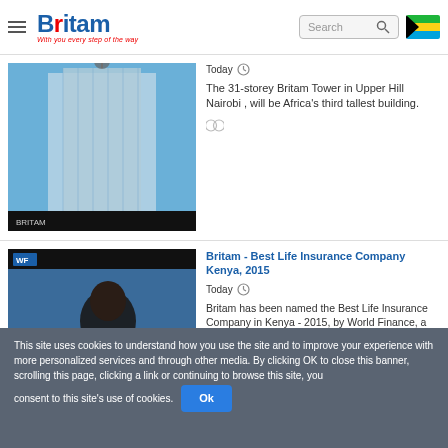[Figure (logo): Britam logo with text 'With you every step of the way']
[Figure (screenshot): Search bar with magnifying glass icon]
[Figure (photo): Tanzania flag icon]
[Figure (photo): Photo of Britam Tower, a tall modern skyscraper against blue sky]
Today
The 31-storey Britam Tower in Upper Hill Nairobi , will be Africa's third tallest building.
[Figure (photo): Video thumbnail of a man in suit being interviewed, with 'WF' logo in top left corner]
Britam - Best Life Insurance Company Kenya, 2015
Today
Britam has been named the Best Life Insurance Company in Kenya - 2015, by World Finance, a London based publication reporting on Finance, Economics and International Business.
This site uses cookies to understand how you use the site and to improve your experience with more personalized services and through other media. By clicking OK to close this banner, scrolling this page, clicking a link or continuing to browse this site, you consent to this site's use of cookies.